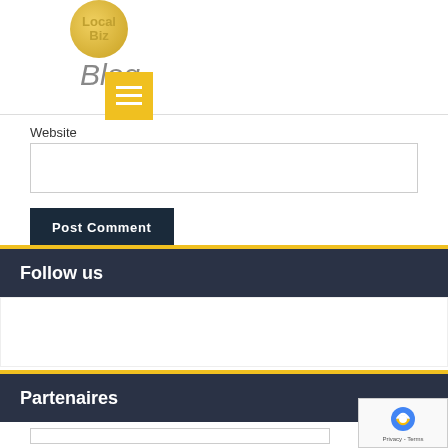Local Biz Blog
Website
Post Comment
Follow us
Partenaires